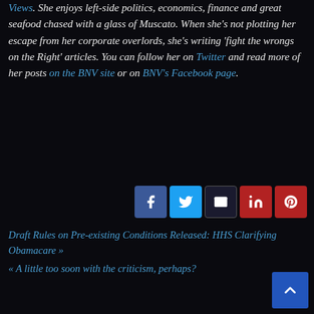Views. She enjoys left-side politics, economics, finance and great seafood chased with a glass of Muscato. When she's not plotting her escape from her corporate overlords, she's writing 'fight the wrongs on the Right' articles. You can follow her on Twitter and read more of her posts on the BNV site or on BNV's Facebook page.
[Figure (other): Social share buttons: Facebook (blue), Twitter (light blue), Email (dark with border), LinkedIn (dark red), Pinterest (dark red)]
Draft Rules on Pre-existing Conditions Released: HHS Clarifying Obamacare »
« A little too soon with the criticism, perhaps?